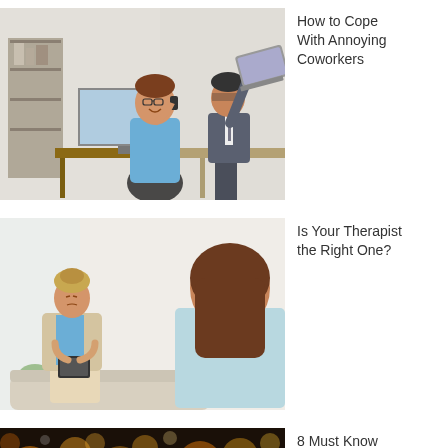[Figure (photo): Two coworkers in an office: a woman on the phone smiling, a man in a suit raising a laptop threateningly above her head. Office setting with shelves and computer in background.]
How to Cope With Annoying Coworkers
[Figure (photo): A therapy session: a female therapist in a blazer holding a notepad sits across from a brown-haired patient in a light blue top in a bright, minimalist room.]
Is Your Therapist the Right One?
[Figure (photo): Bokeh lights background with warm orange and yellow tones, dark scene with blurred circular light spots.]
8 Must Know Trends of